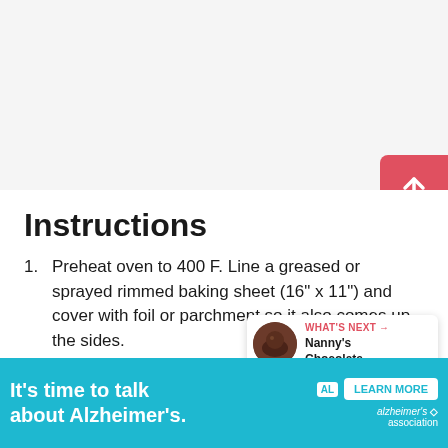Instructions
Preheat oven to 400 F. Line a greased or sprayed rimmed baking sheet (16" x 11") and cover with foil or parchment so it also comes up the sides.
Chop the bacon into bits and cook in a pan until crispy. Drain on some kitchen paper
[Figure (screenshot): Red button with up arrow (share/back-to-top button)]
[Figure (screenshot): What's Next popup showing Nanny's Chocolate... thumbnail]
[Figure (screenshot): Advertisement banner: It's time to talk about Alzheimer's. with Learn More button and Alzheimer's Association logo]